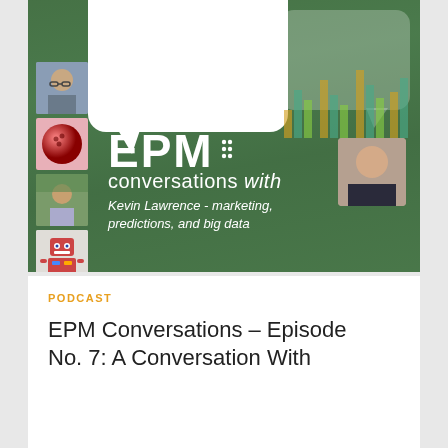[Figure (illustration): EPM Conversations podcast cover art showing green wood-grain background, white speech bubbles, bar chart graphic, four profile photos on the left side (man with glasses, red bowling ball, man outdoors, robot toy), one person photo on right, and EPM Conversations logo with italic subtitle text 'Kevin Lawrence - marketing, predictions, and big data']
PODCAST
EPM Conversations – Episode No. 7: A Conversation With